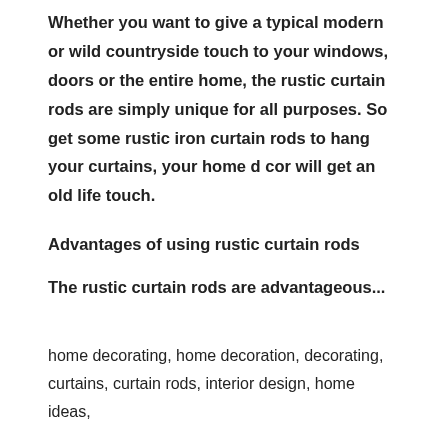Whether you want to give a typical modern or wild countryside touch to your windows, doors or the entire home, the rustic curtain rods are simply unique for all purposes. So get some rustic iron curtain rods to hang your curtains, your home d cor will get an old life touch.
Advantages of using rustic curtain rods
The rustic curtain rods are advantageous...
home decorating, home decoration, decorating, curtains, curtain rods, interior design, home ideas,
To find the best Patios Wexford company, click here for Davitt Driveways Wexford.
The simple but elegant rustic curtain rods work well with a rustic country setting and contemporary urban home scenes. Whether